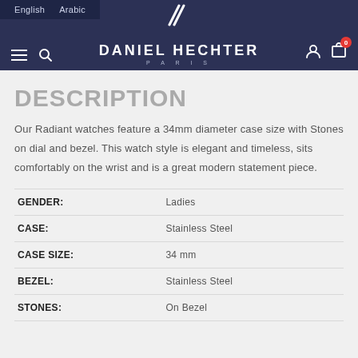English  Arabic  DANIEL HECHTER PARIS
DESCRIPTION
Our Radiant watches feature a 34mm diameter case size with Stones on dial and bezel. This watch style is elegant and timeless, sits comfortably on the wrist and is a great modern statement piece.
| Attribute | Value |
| --- | --- |
| GENDER: | Ladies |
| CASE: | Stainless Steel |
| CASE SIZE: | 34 mm |
| BEZEL: | Stainless Steel |
| STONES: | On Bezel |